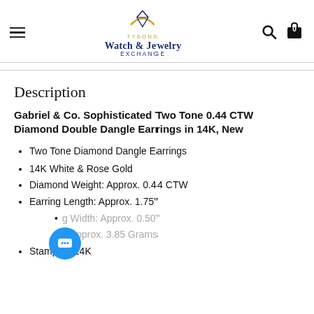Tysons Watch & Jewelry Exchange
Description
Gabriel & Co. Sophisticated Two Tone 0.44 CTW Diamond Double Dangle Earrings in 14K, New
Two Tone Diamond Dangle Earrings
14K White & Rose Gold
Diamond Weight: Approx. 0.44 CTW
Earring Length: Approx. 1.75"
Earring Width: Approx. 0.50"
Weight: Approx. 3.85 Grams
Stamped: 14K